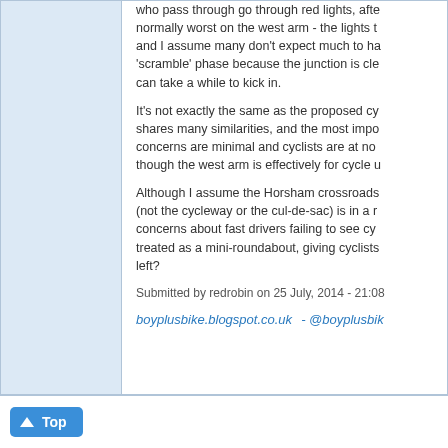who pass through go through red lights, after which it is normally worst on the west arm - the lights there are new and I assume many don't expect much to happen at the 'scramble' phase because the junction is clear, and habits can take a while to kick in.
It's not exactly the same as the proposed cy… shares many similarities, and the most imp… concerns are minimal and cyclists are at no… though the west arm is effectively for cycle u…
Although I assume the Horsham crossroads… (not the cycleway or the cul-de-sac) is in a r… concerns about fast drivers failing to see cy… treated as a mini-roundabout, giving cyclists… left?
Submitted by redrobin on 25 July, 2014 - 21:08
boyplusbike.blogspot.co.uk - @boyplusbik…